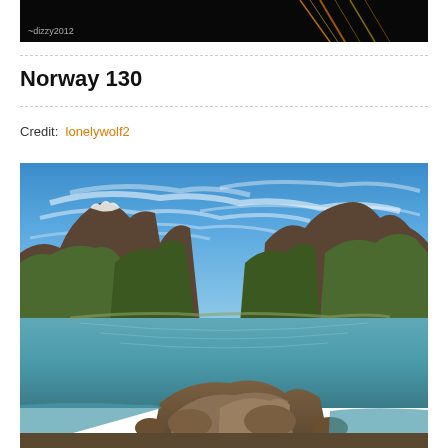[Figure (photo): Dark nighttime photo with light streaks, watermark '~dizzy2012' in lower left corner]
Norway 130
Credit:  lonelywolf2
[Figure (photo): Scenic Norwegian fjord landscape with tall mountains on both sides, reflective turquoise water, large rocks in foreground, blue sky with wispy white clouds]